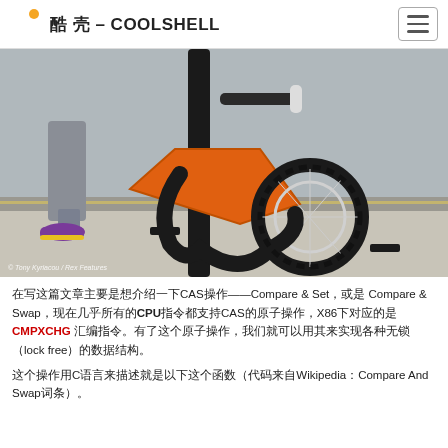酷 壳 – COOLSHELL
[Figure (photo): Photo of a person locking an orange bicycle frame to a street pole using a black chain lock, with the rear wheel visible. Watermark: © Tony Kyriacou / Rex Features]
在写这篇文章主要是想介绍一下CAS操作——Compare & Set，或是 Compare & Swap，现在几乎所有的CPU指令都支持CAS的原子操作，X86下对应的是 CMPXCHG 汇编指令。有了这个原子操作，我们就可以用其来实现各种无锁（lock free）的数据结构。
这个操作用C语言来描述就是以下这个函数（代码来自Wikipedia的Compare And Swap词条）。